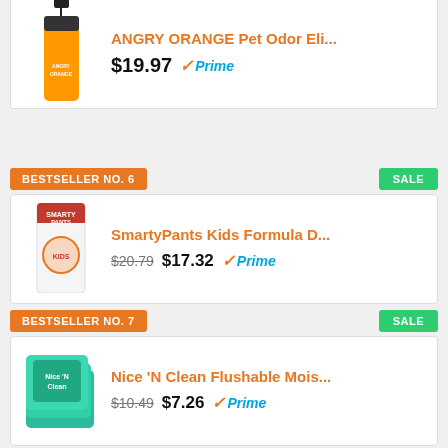[Figure (photo): ANGRY ORANGE Pet Odor Eliminator spray bottle (orange bottle with black sprayer)]
ANGRY ORANGE Pet Odor Eli...
$19.97  ✓Prime
BESTSELLER NO. 6
SALE
[Figure (photo): SmartyPants Kids Formula dietary supplement bottle with red cap]
SmartyPants Kids Formula D...
$20.79  $17.32  ✓Prime
BESTSELLER NO. 7
SALE
[Figure (photo): Nice 'N Clean Flushable Moist wipes multi-pack in teal packaging]
Nice 'N Clean Flushable Mois...
$10.49  $7.26  ✓Prime
BESTSELLER NO. 8
[Figure (photo): Voltaren Arthritis Pain Gel tubes packaging]
Voltaren Arthritis Pain Gel f...
Number 1 Doctor Recommended topical pain relief brand; Paraben and Dye-Free, Voltaren diclofenac gel is a